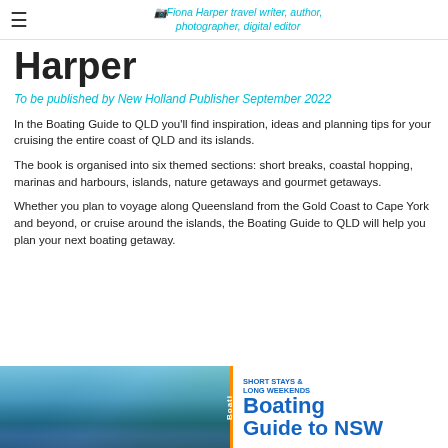Fiona Harper travel writer, author, photographer, digital editor
Harper
To be published by New Holland Publisher September 2022
In the Boating Guide to QLD you'll find inspiration, ideas and planning tips for your cruising the entire coast of QLD and its islands.
The book is organised into six themed sections: short breaks, coastal hopping, marinas and harbours, islands, nature getaways and gourmet getaways.
Whether you plan to voyage along Queensland from the Gold Coast to Cape York and beyond, or cruise around the islands, the Boating Guide to QLD will help you plan your next boating getaway.
[Figure (photo): Bottom portion showing a book cover and aerial coastal photo. Left half: aerial photo of a marina and coastline with blue water. Right half: Book cover 'Boating Guide to NSW' with 'Short Stays & Long Weekends' subtitle in blue and orange.]